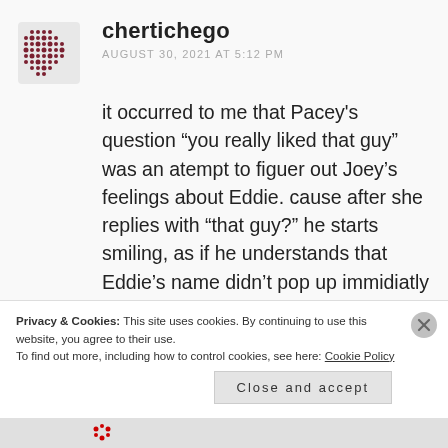[Figure (illustration): Avatar icon with decorative dot pattern in dark red/maroon color]
chertichego
AUGUST 30, 2021 AT 5:12 PM
it occurred to me that Pacey's question “you really liked that guy” was an atempt to figuer out Joey's feelings about Eddie. cause after she replies with “that guy?” he starts smiling, as if he understands that Eddie's name didn’t pop up immidiatly in her head and that was
Privacy & Cookies: This site uses cookies. By continuing to use this website, you agree to their use.
To find out more, including how to control cookies, see here: Cookie Policy
Close and accept